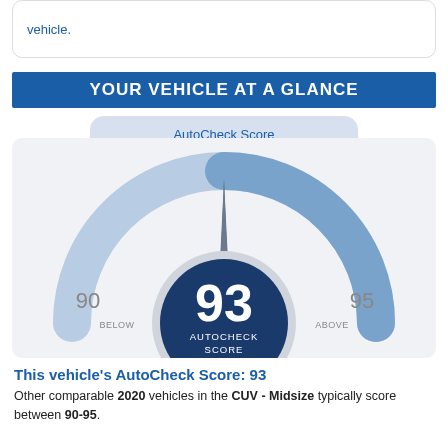vehicle.
YOUR VEHICLE AT A GLANCE
AutoCheck Score
[Figure (infographic): Gauge meter showing AutoCheck Score of 93. The dial has a dark pointer pointing upward/slightly right. The gauge arc is divided into lighter blue (below) and medium blue (above) sections. The center circle is dark navy blue with '93' in large white text and 'AUTOCHECK SCORE' below it. Left side shows '90' with 'BELOW' label, right side shows '95' with 'ABOVE' label.]
This vehicle's AutoCheck Score: 93
Other comparable 2020 vehicles in the CUV - Midsize typically score between 90-95.